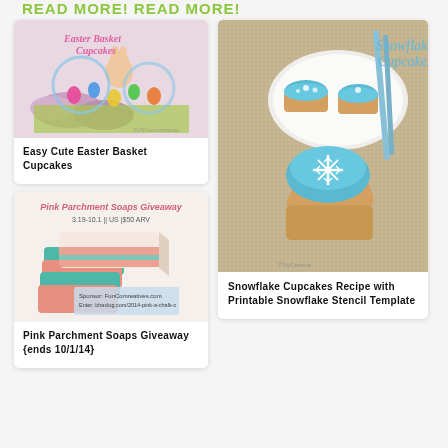READ MORE! READ MORE!
[Figure (photo): Easter Basket Cupcakes decorated with colorful Easter eggs and basket-style cupcake holders]
Easy Cute Easter Basket Cupcakes
[Figure (photo): Pink Parchment Soaps Giveaway promotional image showing layered pink and teal soaps]
Pink Parchment Soaps Giveaway {ends 10/1/14}
[Figure (photo): Snowflake Cupcakes with blue frosting and white snowflake decorations on a plate]
Snowflake Cupcakes Recipe with Printable Snowflake Stencil Template